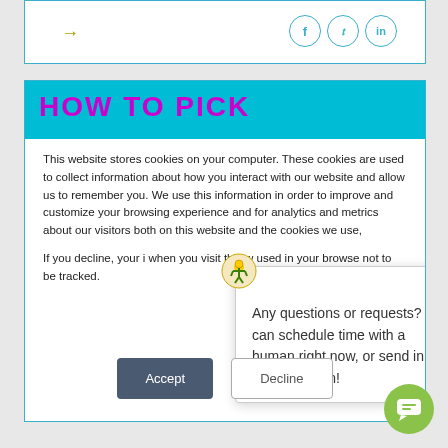[Figure (screenshot): Top navigation panel with arrow icon and social media icons (Facebook, Twitter, LinkedIn) in teal circles]
[Figure (screenshot): Cyan header bar with 'HOW TO PICK' text in magenta bold Impact font]
This website stores cookies on your computer. These cookies are used to collect information about how you interact with our website and allow us to remember you. We use this information in order to improve and customize your browsing experience and for analytics and metrics about our visitors both on this website and the cookies we use,
If you decline, your i when you visit this w used in your browse not to be tracked.
Any questions or requests? I can schedule time with a human right now, or send in your question!
[Figure (other): Green circular chat button with chat bubble icon]
Accept
Decline